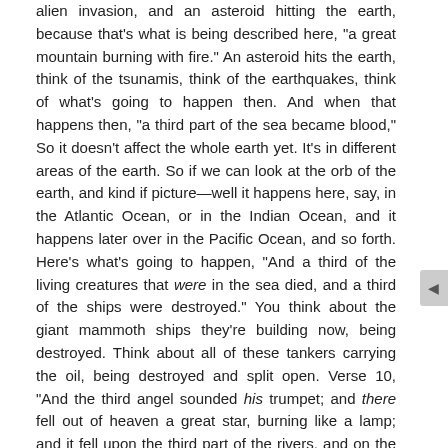alien invasion, and an asteroid hitting the earth, because that's what is being described here, "a great mountain burning with fire." An asteroid hits the earth, think of the tsunamis, think of the earthquakes, think of what's going to happen then. And when that happens then, "a third part of the sea became blood," So it doesn't affect the whole earth yet. It's in different areas of the earth. So if we can look at the orb of the earth, and kind if picture—well it happens here, say, in the Atlantic Ocean, or in the Indian Ocean, and it happens later over in the Pacific Ocean, and so forth. Here's what's going to happen, "And a third of the living creatures that were in the sea died, and a third of the ships were destroyed." You think about the giant mammoth ships they're building now, being destroyed. Think about all of these tankers carrying the oil, being destroyed and split open. Verse 10, "And the third angel sounded his trumpet; and there fell out of heaven a great star, burning like a lamp; and it fell upon the third part of the rivers, and on the fountains of waters. Now the name of the star is called Wormwood." So because they wouldn't obey God, and they martyred the saints, God is going to give them the bitterness of their way back to them. "And a third of the waters became wormwood; and many men died from drinking the waters because they were made bitter." They are going to be so thirsty, they're going to say, "O let us drink of it, if we live, we live. If we die, we die." "Then the fourth angel sounded his trumpet; and a third part of the sun was smitten, and the third part of the moon, and the third of the stars; so that a third of them was